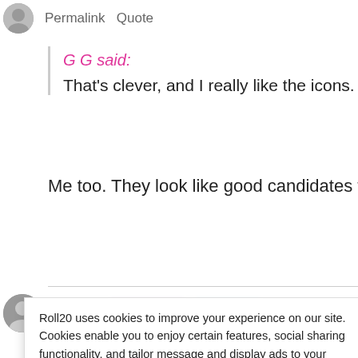Permalink   Quote
G G said:
That's clever, and I really like the icons.
Me too. They look like good candidates for a ro
Roll20 uses cookies to improve your experience on our site. Cookies enable you to enjoy certain features, social sharing functionality, and tailor message and display ads to your interests on our site and others. They also help us understand how our site is being used. By continuing to use our site, you consent to our use of cookies. Update your cookie preferences here.
Blue64 said: